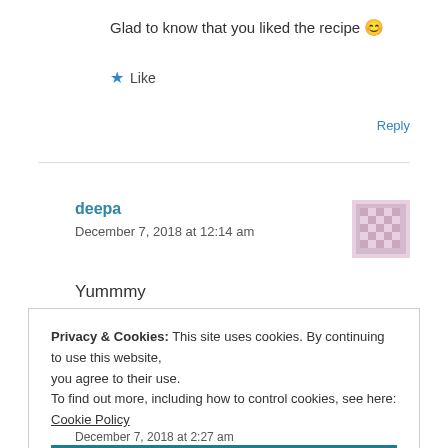Glad to know that you liked the recipe 😊
★ Like
Reply
deepa
December 7, 2018 at 12:14 am
Yummmy
Privacy & Cookies: This site uses cookies. By continuing to use this website, you agree to their use.
To find out more, including how to control cookies, see here: Cookie Policy
Close and accept
December 7, 2018 at 2:27 am